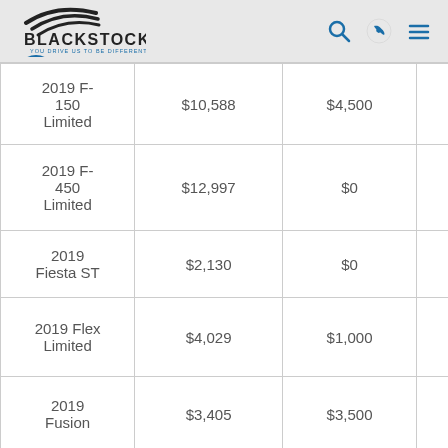Blackstock Ford - You Drive Us To Be Different
| Model | Price | Rebate |  |
| --- | --- | --- | --- |
| 2019 F-150 Limited | $10,588 | $4,500 |  |
| 2019 F-450 Limited | $12,997 | $0 |  |
| 2019 Fiesta ST | $2,130 | $0 |  |
| 2019 Flex Limited | $4,029 | $1,000 |  |
| 2019 Fusion | $3,405 | $3,500 |  |